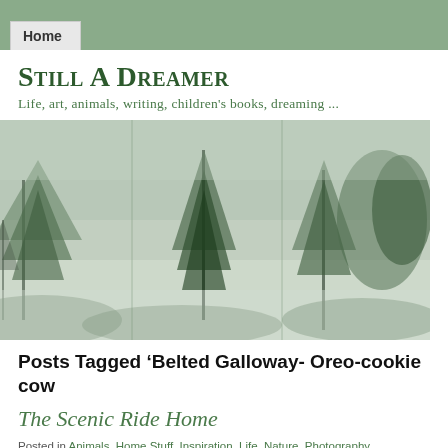Home
Still A Dreamer
Life, art, animals, writing, children's books, dreaming ...
[Figure (photo): Misty forest landscape with tall conifer trees in fog, muted green and grey tones, panoramic banner image]
Posts Tagged ‘Belted Galloway- Oreo-cookie cow
The Scenic Ride Home
Posted in Animals, Home Stuff, Inspiration, Life, Nature, Photography, Reflections, tag
Oreo-cookie cow, Beltie, cattle, country, countryside, cows, farm, Farms, forest, Hunte
on May 10, 2015| 7 Comments »